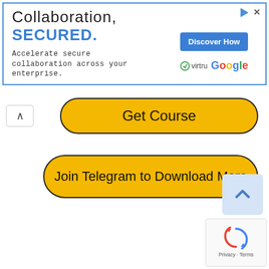[Figure (screenshot): Advertisement banner for Virtru and Google collaboration security product. Text: 'Collaboration, SECURED.' with subtext 'Accelerate secure collaboration across your enterprise.' Includes a blue 'Discover How' button and Virtru/Google logos.]
Get Course
Join Telegram to Download More
[Figure (other): Scroll-to-top chevron button, light blue background]
[Figure (other): Google reCAPTCHA widget showing spinning arrows icon with 'Privacy - Terms' text]